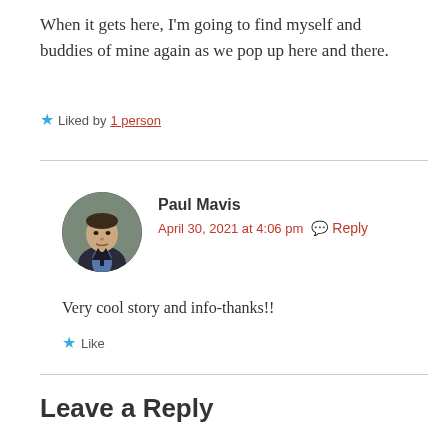When it gets here, I'm going to find myself and buddies of mine again as we pop up here and there.
★ Liked by 1 person
Paul Mavis
April 30, 2021 at 4:06 pm  Reply
Very cool story and  info-thanks!!
★ Like
Leave a Reply